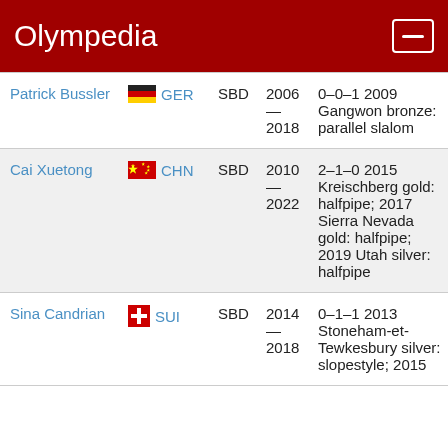Olympedia
| Name | Country | Sport | Years | Notes |
| --- | --- | --- | --- | --- |
| Patrick Bussler | GER | SBD | 2006 — 2018 | 0–0–1 2009 Gangwon bronze: parallel slalom |
| Cai Xuetong | CHN | SBD | 2010 — 2022 | 2–1–0 2015 Kreischberg gold: halfpipe; 2017 Sierra Nevada gold: halfpipe; 2019 Utah silver: halfpipe |
| Sina Candrian | SUI | SBD | 2014 — 2018 | 0–1–1 2013 Stoneham-et-Tewkesbury silver: slopestyle; 2015 |